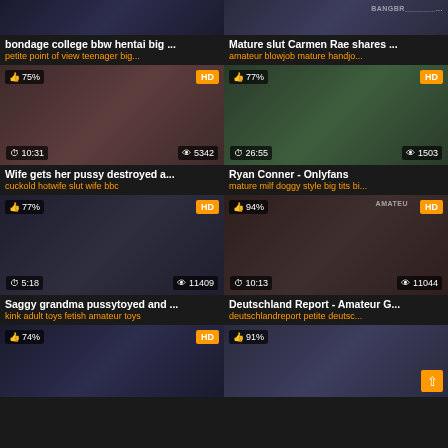[Figure (screenshot): Video thumbnail grid showing adult video website with 6 visible cards in 2-column layout]
bondage college bbw hentai big ...
petite point of view teenager big...
Mature slut Carmen Rae shares ...
amateur blowjob mature handjo...
Wife gets her pussy destroyed a...
cuckold hotwife slut wife bbc
Ryan Conner - Onlyfans
mature milf doggy style big tits bi...
Saggy grandma pussytoyed and ...
kink adult toys fetish amateur toys
Deutschland Report - Amateur G...
deutschlandreport petite deutsc...